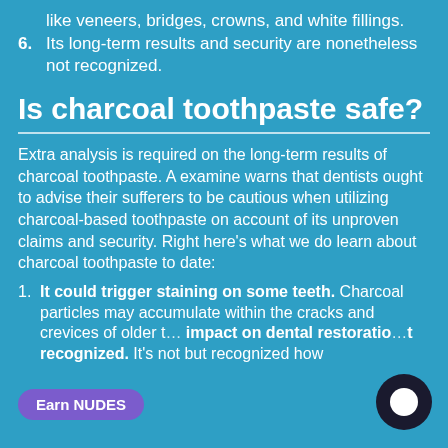like veneers, bridges, crowns, and white fillings.
6. Its long-term results and security are nonetheless not recognized.
Is charcoal toothpaste safe?
Extra analysis is required on the long-term results of charcoal toothpaste. A examine warns that dentists ought to advise their sufferers to be cautious when utilizing charcoal-based toothpaste on account of its unproven claims and security. Right here’s what we do learn about charcoal toothpaste to date:
1. It could trigger staining on some teeth. Charcoal particles may accumulate within the cracks and crevices of older t… impact on dental restoration…t recognized. It’s not but recognized how